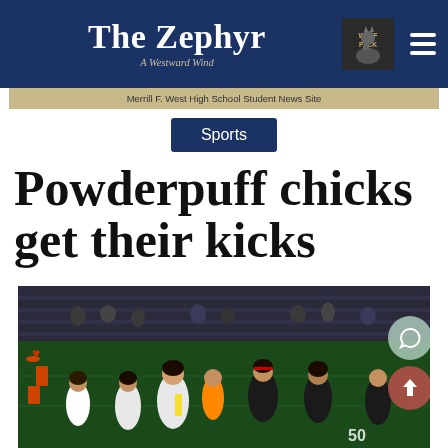The Zephyr — A Westward Wind — Merrill F. West High School Student News Site
Sports
Powderpuff chicks get their kicks
[Figure (photo): Student athletes playing powderpuff flag football on a lit field at night, players in white and black jerseys, stadium bleachers visible in background]